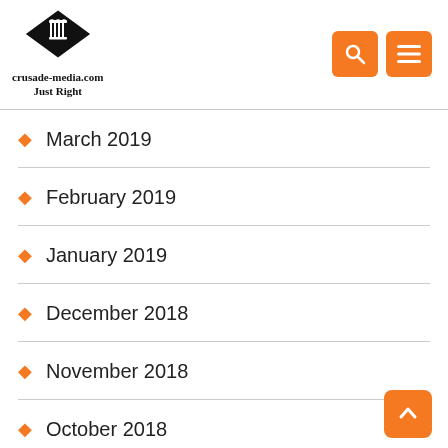crusade-media.com Just Right
March 2019
February 2019
January 2019
December 2018
November 2018
October 2018
September 2018